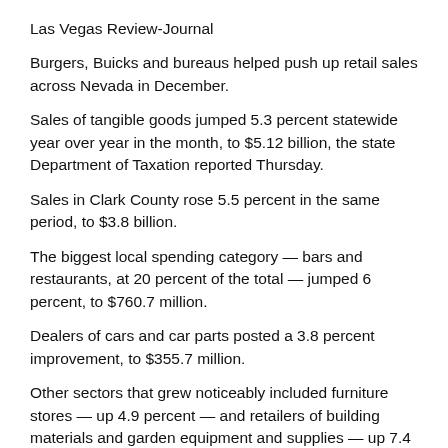Las Vegas Review-Journal
Burgers, Buicks and bureaus helped push up retail sales across Nevada in December.
Sales of tangible goods jumped 5.3 percent statewide year over year in the month, to $5.12 billion, the state Department of Taxation reported Thursday.
Sales in Clark County rose 5.5 percent in the same period, to $3.8 billion.
The biggest local spending category — bars and restaurants, at 20 percent of the total — jumped 6 percent, to $760.7 million.
Dealers of cars and car parts posted a 3.8 percent improvement, to $355.7 million.
Other sectors that grew noticeably included furniture stores — up 4.9 percent — and retailers of building materials and garden equipment and supplies — up 7.4 percent.
Spending on construction-related goods surged 31.9